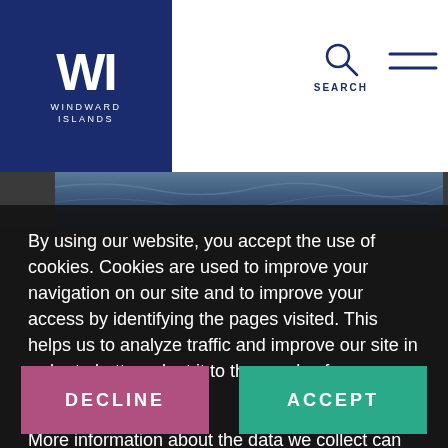[Figure (logo): WI Windward Islands logo on navy blue background]
[Figure (photo): Water/ocean scene header strip]
By using our website, you accept the use of cookies. Cookies are used to improve your navigation on our site and to improve your access by identifying the pages visited. This helps us to analyze traffic and improve our site in order to better adapt it to the needs of our customers.

More information about the data we collect can be found here: Legal
[Figure (screenshot): DECLINE and ACCEPT cookie consent buttons at bottom of dark overlay]